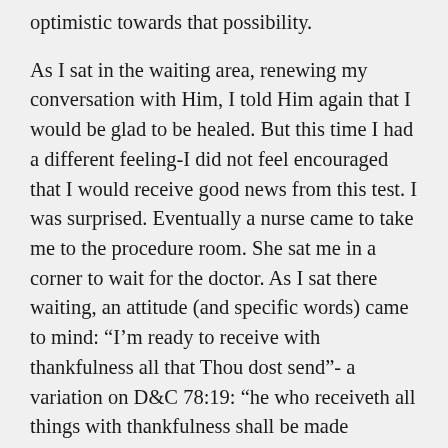optimistic towards that possibility.
As I sat in the waiting area, renewing my conversation with Him, I told Him again that I would be glad to be healed. But this time I had a different feeling-I did not feel encouraged that I would receive good news from this test. I was surprised. Eventually a nurse came to take me to the procedure room. She sat me in a corner to wait for the doctor. As I sat there waiting, an attitude (and specific words) came to mind: “I’m ready to receive with thankfulness all that Thou dost send”- a variation on D&C 78:19: “he who receiveth all things with thankfulness shall be made glorious.”
The radiologist took about 20 minutes to do the test. Then he delivered the news that I need another surgery that will entail an extended recovery